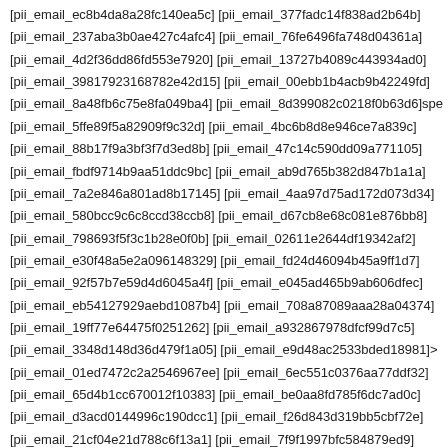[pii_email_ec8b4da8a28fc140ea5c] [pii_email_377fadc14f838ad2b64b]
[pii_email_237aba3b0ae427c4afc4] [pii_email_76fe6496fa748d04361a]
[pii_email_4d2f36dd86fd553e7920] [pii_email_13727b4089c443934ad0]
[pii_email_39817923168782e42d15] [pii_email_00ebb1b4acb9b42249fd]
[pii_email_8a48fb6c75e8fa049ba4] [pii_email_8d399082c0218f0b63d6]spe
[pii_email_5ffe89f5a82909f9c32d] [pii_email_4bc6b8d8e946ce7a839c]
[pii_email_88b17f9a3bf3f7d3ed8b] [pii_email_47c14c590dd09a771105]
[pii_email_fbdf9714b9aa51ddc9bc] [pii_email_ab9d765b382d847b1a1a]
[pii_email_7a2e846a801ad8b17145] [pii_email_4aa97d75ad172d073d34]
[pii_email_580bcc9c6c8ccd38ccb8] [pii_email_d67cb8e68c081e876bb8]
[pii_email_798693f5f3c1b28e0f0b] [pii_email_02611e2644df19342af2]
[pii_email_e30f48a5e2a096148329] [pii_email_fd24d46094b45a9ff1d7]
[pii_email_92f57b7e59d4d6045a4f] [pii_email_e045ad465b9ab606dfec]
[pii_email_eb54127929aebd1087b4] [pii_email_708a87089aaa28a04374]
[pii_email_19ff77e64475f0251262] [pii_email_a932867978dfcf99d7c5]
[pii_email_3348d148d36d479f1a05] [pii_email_e9d48ac2533bded18981]>
[pii_email_01ed7472c2a2546967ee] [pii_email_6ec551c0376aa77ddf32]
[pii_email_65d4b1cc670012f10383] [pii_email_be0aa8fd785f6dc7ad0c]
[pii_email_d3acd0144996c190dcc1] [pii_email_f26d843d319bb5cbf72e]
[pii_email_21cf04e21d788c6f13a1] [pii_email_7f9f1997bfc584879ed9]
[pii_email_4d74522ea3458f29e986] [pii_email_8d23d8d45072e9ee465f]
[pii_email_0881862f9681db442987] [pii_email_33d390423a173252cb99]
[pii_email_726997f07e9e1d926b69] [pii_email_ee3e4552f3e4bbee8893]